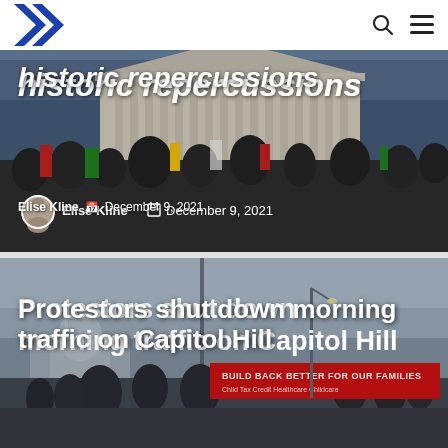[Figure (photo): Photo of protest crowd outside the US Supreme Court building. A partially visible headline reads 'historic repercussions'. Author: Elise Kline, Date: December 9, 2021.]
historic repercussions
Elise Kline   December 9, 2021
[Figure (photo): Photo of protest on Capitol Hill with a red 'BUILD BACK BETTER FOR OUR FAMILIES' banner. The Capitol building is visible in the background. Protesters are in the street.]
Protestors shut down morning traffic on Capitol Hill